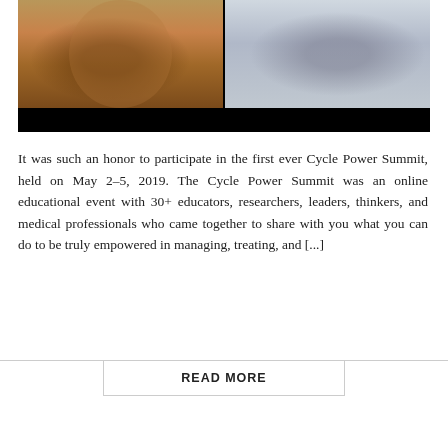[Figure (photo): Screenshot of a video call showing two women. Left: a woman with curly dark hair wearing a colorful scarf with hands raised, in front of a bookshelf. Right: a woman with dark hair wearing a blue top and light gray cardigan, smiling. Below the two video panels is a black bar (video player controls area).]
It was such an honor to participate in the first ever Cycle Power Summit, held on May 2–5, 2019. The Cycle Power Summit was an online educational event with 30+ educators, researchers, leaders, thinkers, and medical professionals who came together to share with you what you can do to be truly empowered in managing, treating, and [...]
READ MORE